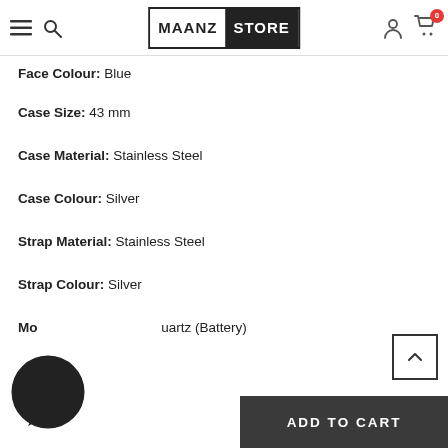MAANZ STORE
Face Colour: Blue
Case Size: 43 mm
Case Material: Stainless Steel
Case Colour: Silver
Strap Material: Stainless Steel
Strap Colour: Silver
Movement: Quartz (Battery)